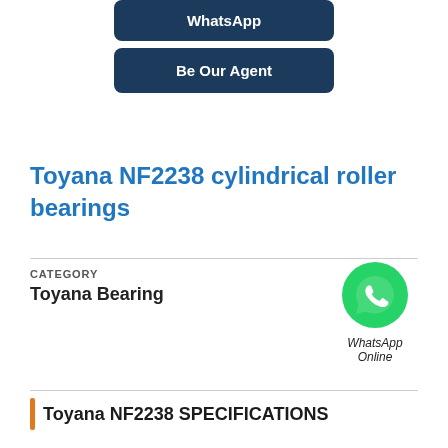[Figure (screenshot): WhatsApp button (dark navy blue rounded rectangle)]
[Figure (screenshot): Be Our Agent button (dark navy blue rounded rectangle)]
Toyana NF2238 cylindrical roller bearings
CATEGORY
Toyana Bearing
[Figure (logo): WhatsApp green circle icon with phone handset, labeled 'WhatsApp Online']
Toyana NF2238 SPECIFICATIONS
YOU'LL FIND Metric Inch - Metric AN BEARING CORP.OF AMERICA EXTENSIVE SELECTION 2.778 Weight / LBS OF ABEC 1 | ISO P0 Precision Class Toyana NF2238 cylindrical roller bearings FOR SALE.